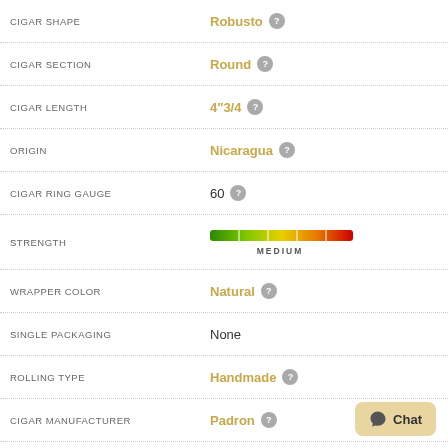| Attribute | Value |
| --- | --- |
| CIGAR SHAPE | Robusto |
| CIGAR SECTION | Round |
| CIGAR LENGTH | 4"3/4 |
| ORIGIN | Nicaragua |
| CIGAR RING GAUGE | 60 |
| STRENGTH | MEDIUM |
| WRAPPER COLOR | Natural |
| SINGLE PACKAGING | None |
| ROLLING TYPE | Handmade |
| CIGAR MANUFACTURER | Padron |
| CIGAR WRAPPER | Nicaraguan |
| CIGAR BINDER | Nicaragua |
| CIGAR FILLER | Nicaragua |
| MAGAZINE RATING | 93 |
[Figure (infographic): Magazine rating badge showing 93 rated by Cigar Insider]